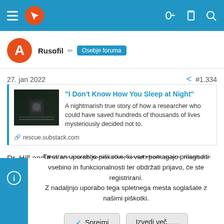[Figure (screenshot): Navigation bar with hamburger menu, orange cursor icon, and right-side icons (key, clipboard, search) on blue background]
Rusofil ✏ Osebje foruma
27. jan 2022    #1.334
[Figure (screenshot): Link card preview with thumbnail image of dark tunnel/train, title '"I Don't Know How You Sleep at Night"', description text and rescue.substack.com URL]
Dr. Hill and the research team produced their meta-analysis of
Ta stran uporablja piškotke, ki vam pomagajo prilagoditi vsebino in funkcionalnosti ter obdržati prijavo, če ste registrirani. Z nadaljnjo uporabo tega spletnega mesta soglašate z našimi piškotki.
✓ Sprejmi   Izvedi več......